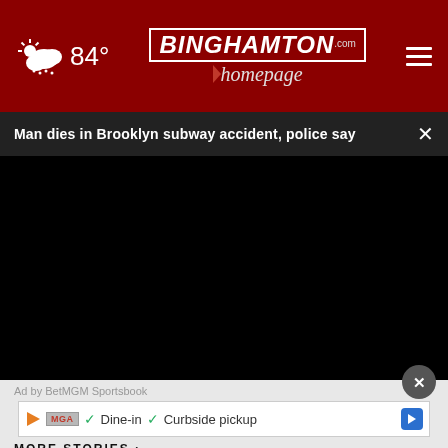84° Binghamton Homepage
Man dies in Brooklyn subway accident, police say
[Figure (screenshot): Black video player area]
Ad by BetMGM Sportsbook
[Figure (screenshot): Advertisement banner with MGA logo, Dine-in, Curbside pickup options and navigation arrow]
MORE STORIES